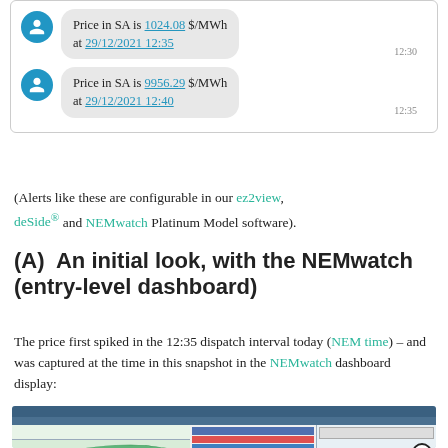[Figure (screenshot): Chat message bubbles showing price alerts: 'Price in SA is 1024.08 $/MWh at 29/12/2021 12:35' (timestamp 12:30) and 'Price in SA is 9956.29 $/MWh at 29/12/2021 12:40' (timestamp 12:35)]
(Alerts like these are configurable in our ez2view, deSide® and NEMwatch Platinum Model software).
(A)  An initial look, with the NEMwatch (entry-level dashboard)
The price first spiked in the 12:35 dispatch interval today (NEM time) – and was captured at the time in this snapshot in the NEMwatch dashboard display:
[Figure (screenshot): NEMwatch dashboard display screenshot showing energy market data with charts and tables]